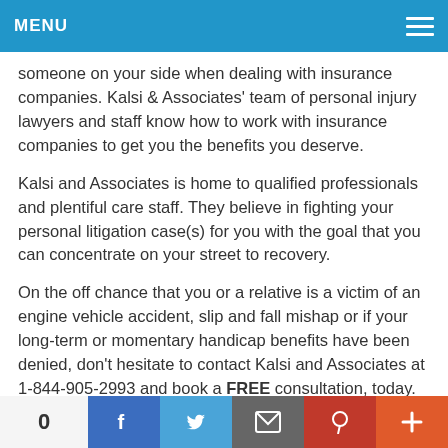MENU
someone on your side when dealing with insurance companies. Kalsi & Associates' team of personal injury lawyers and staff know how to work with insurance companies to get you the benefits you deserve.
Kalsi and Associates is home to qualified professionals and plentiful care staff. They believe in fighting your personal litigation case(s) for you with the goal that you can concentrate on your street to recovery.
On the off chance that you or a relative is a victim of an engine vehicle accident, slip and fall mishap or if your long-term or momentary handicap benefits have been denied, don't hesitate to contact Kalsi and Associates at 1-844-905-2993 and book a FREE consultation, today. They are prepared and ready to help.
0 | Facebook | Twitter | Email | Pinterest | +